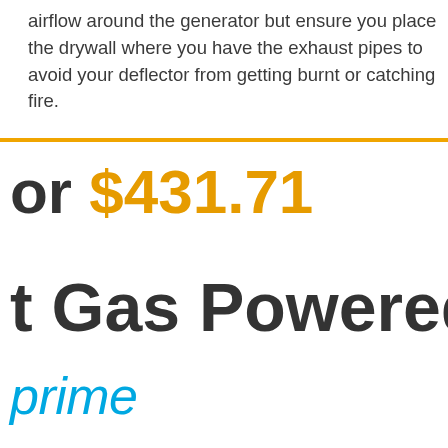airflow around the generator but ensure you place the drywall where you have the exhaust pipes to avoid your deflector from getting burnt or catching fire.
or $431.71
t Gas Powered Po
prime